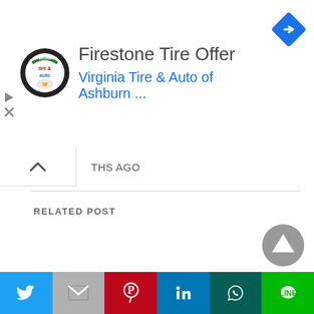[Figure (screenshot): Advertisement banner for Firestone Tire Offer from Virginia Tire & Auto of Ashburn with logo and navigation icon]
THS AGO
RELATED POST
[Figure (other): Scroll to top button (grey circle with upward triangle)]
[Figure (other): Social sharing bar with Twitter, Gmail, Pinterest, LinkedIn, WhatsApp, and LINE buttons]